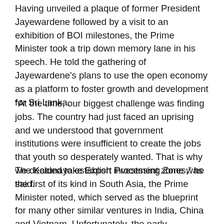Having unveiled a plaque of former President Jayewardene followed by a visit to an exhibition of BOI milestones, the Prime Minister took a trip down memory lane in his speech. He told the gathering of Jayewardene's plans to use the open economy as a platform to foster growth and development for Sri Lanka.
“At the time, our biggest challenge was finding jobs. The country had just faced an uprising and we understood that government institutions were insufficient to create the jobs that youth so desperately wanted. That is why we decided to establish investment zones,” he said.
The Katunayake Export Processing Zone was the first of its kind in South Asia, the Prime Minister noted, which served as the blueprint for many other similar ventures in India, China and Vietnam. Unfortunately, the early advantage of an open economy was lost to Sri Lanka a few years later when the war began and lucrative